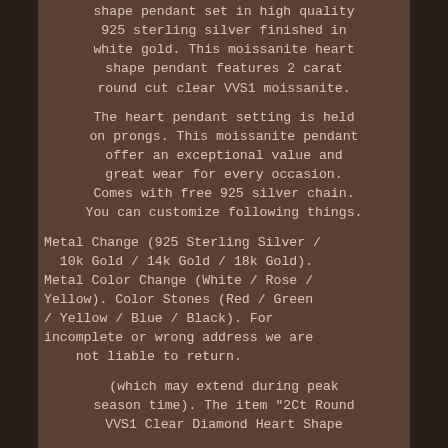shape pendant set in high quality 925 sterling silver finished in white gold. This moissanite heart shape pendant features 2 carat round cut clear VVS1 moissanite.
The heart pendant setting is held on prongs. This moissanite pendant offer an exceptional value and great wear for every occasion. Comes with free 925 silver chain. You can customize following things.
Metal Change (925 Sterling Silver / 10k Gold / 14k Gold / 18k Gold). Metal Color Change (White / Rose / Yellow). Color Stones (Red / Green / Yellow / Blue / Black). For incomplete or wrong address we are not liable to return.
(which may extend during peak season time). The item "2Ct Round VVS1 Clear Diamond Heart Shape